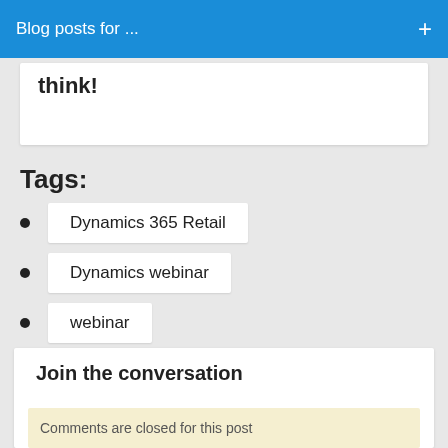Blog posts for ...
think!
Tags:
Dynamics 365 Retail
Dynamics webinar
webinar
Join the conversation
Comments are closed for this post